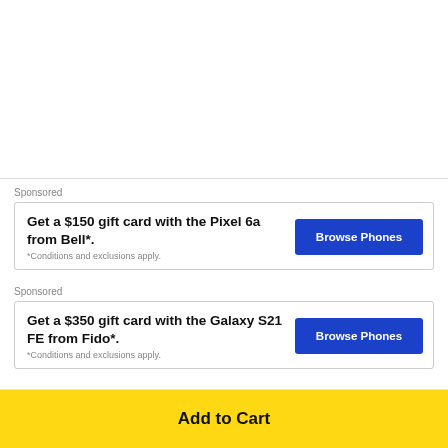Sponsored
Get a $150 gift card with the Pixel 6a from Bell*.
*Conditions and exclusions apply.
Browse Phones
Sponsored
Get a $350 gift card with the Galaxy S21 FE from Fido*.
*Conditions and exclusions apply.
Browse Phones
Add to Cart